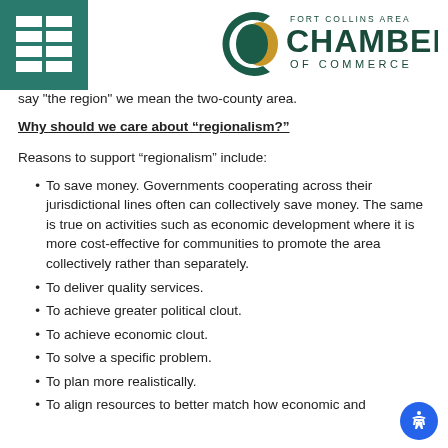[Figure (logo): Fort Collins Area Chamber of Commerce logo with green C shape and gold crescent, grid/list icon in teal on left]
say "the region" we mean the two-county area.
Why should we care about “regionalism?”
Reasons to support “regionalism” include:
To save money. Governments cooperating across their jurisdictional lines often can collectively save money. The same is true on activities such as economic development where it is more cost-effective for communities to promote the area collectively rather than separately.
To deliver quality services.
To achieve greater political clout.
To achieve economic clout.
To solve a specific problem.
To plan more realistically.
To align resources to better match how economic and